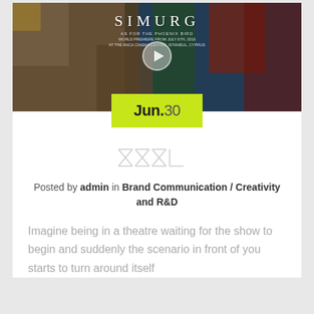[Figure (photo): Video thumbnail showing colorful bird feathers (peacock-like) with SIMURG title overlay and play button circle. Text reads: SIMURG, WORLD PREMIERE FROM JULY 6TH, 2016, AT THE ANCA CINEMA CENTRE, ISTANBUL, CYPRUS]
Jun.30
[Figure (logo): XXXL logo in thin grey outlined letters]
Posted by admin in Brand Communication / Creativity and R&D
Imagine being in a theatre waiting for the show to begin and suddenly the scenario in front of you starts to turn around itself